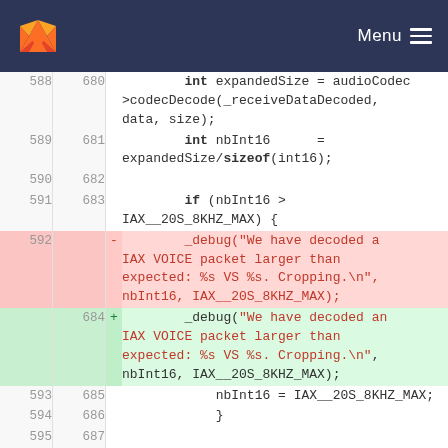[Figure (screenshot): GitLab navigation header with fox logo and Menu button on dark blue background]
| old_line | new_line | sign | code |
| --- | --- | --- | --- |
| 588 | 680 |  | int expandedSize = audioCodec->codecDecode(_receiveDataDecoded, data, size); |
| 589 | 681 |  | int nbInt16 = expandedSize/sizeof(int16); |
| 590 | 682 |  |  |
| 591 | 683 |  | if (nbInt16 > IAX__20S_8KHZ_MAX) { |
| 592 |  | -  | _debug("We have decoded a IAX VOICE packet larger than expected: %s VS %s. Cropping.\n", nbInt16, IAX__20S_8KHZ_MAX); |
|  | 684 | +  | _debug("We have decoded an IAX VOICE packet larger than expected: %s VS %s. Cropping.\n", nbInt16, IAX__20S_8KHZ_MAX); |
| 593 | 685 |  | nbInt16 = IAX__20S_8KHZ_MAX; |
| 594 | 686 |  | } |
| 595 | 687 |  |  |
| ... | ... |  | @@ -635,33 +727,6 @@ |
|  |  |  | IAXVoIPLink::HandleCallEvent(iax... |